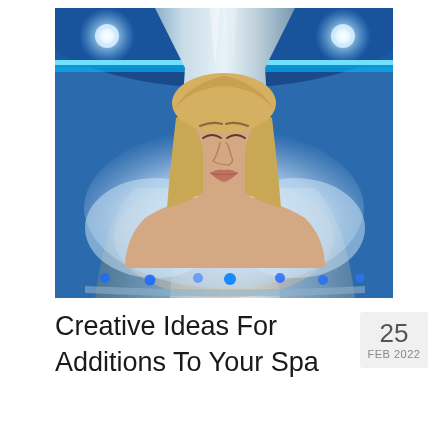[Figure (photo): Woman with blonde hair and closed eyes inside a cryotherapy chamber. The chamber has a metallic funnel-shaped top and glowing blue LED lights. Mist or vapor is visible around her shoulders and chest. The background shows a curved blue-lit ceiling with recessed spotlights.]
Creative Ideas For Additions To Your Spa
25 FEB 2022